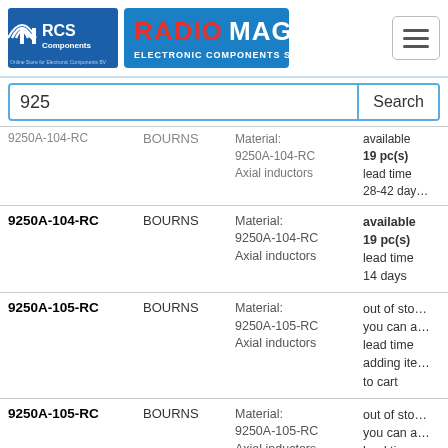[Figure (logo): RCS Components logo - blue and black with tagline]
[Figure (logo): RadioMag Electronic Components Store logo - red and blue text]
925
| Part Number | Brand | Info | Availability |
| --- | --- | --- | --- |
| 9250A-104-RC (cut) | BOURNS | Material:
9250A-104-RC
Axial inductors | available
19 pc(s)
lead time
28-42 days |
| 9250A-104-RC | BOURNS | Material:
9250A-104-RC
Axial inductors | available
19 pc(s)
lead time
14 days |
| 9250A-105-RC | BOURNS | Material:
9250A-105-RC
Axial inductors | out of stock
you can add
lead time
adding item
to cart |
| 9250A-105-RC | BOURNS | Material:
9250A-105-RC
Axial inductors | out of stock
you can add
lead time
adding item
to cart |
| 9250A-125-RC | BOURNS | Material:
9250A-125-RC
Axial inductors | out of stock
you can add
lead time
adding item |